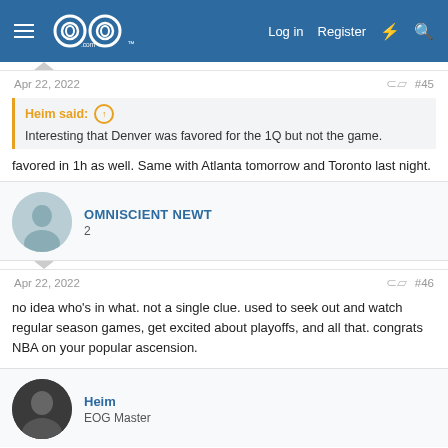GOG.com navigation bar with Log in, Register links
Apr 22, 2022   #45
Heim said: Interesting that Denver was favored for the 1Q but not the game.
favored in 1h as well. Same with Atlanta tomorrow and Toronto last night.
OMNISCIENT NEWT
2
Apr 22, 2022   #46
no idea who's in what. not a single clue. used to seek out and watch regular season games, get excited about playoffs, and all that. congrats NBA on your popular ascension.
Heim
EOG Master